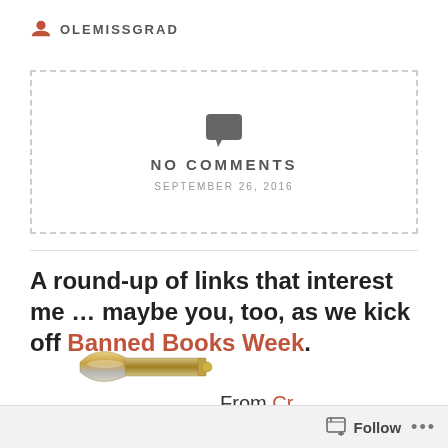OLEMISSGRAD
[Figure (screenshot): Dashed border box with chat bubble icon, text 'NO COMMENTS', and date 'SEPTEMBER 26, 2016']
A round-up of links that interest me … maybe you, too, as we kick off Banned Books Week.
From CrimeSpree: J. A. Jance's
[Figure (photo): A close-up photograph of a bullet/cartridge lying on a white surface]
Follow ...